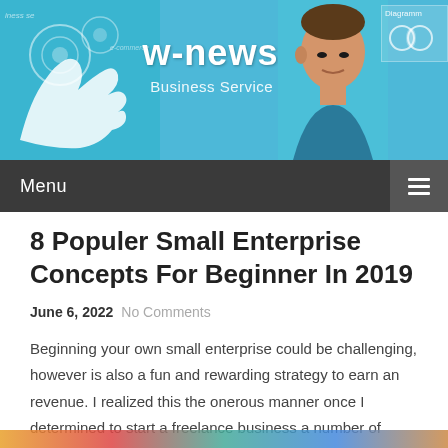[Figure (photo): Website header banner with cyan/blue background, hand touching digital interface on left, man's face on right, site title 'w-news' and subtitle 'Business Service' in center]
w-news
Business Service
Menu
8 Populer Small Enterprise Concepts For Beginner In 2019
June 6, 2022 No Comments
Beginning your own small enterprise could be challenging, however is also a fun and rewarding strategy to earn an revenue. I realized this the onerous manner once I determined to start a freelance business a number of years ago to offer my freelance content advertising services. From there, the gross sales solely continued rising and we graduated from side enterprise thought to full-time firm that I ran with my finest friend for multiple years.